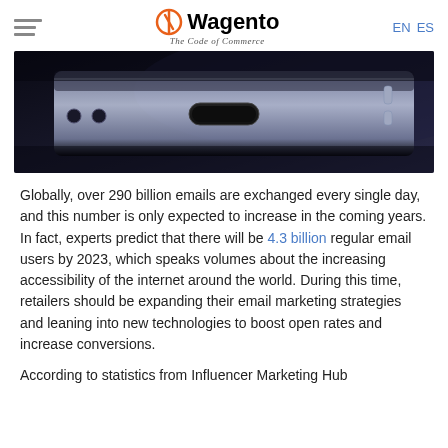Wagento — The Code of Commerce | EN ES
[Figure (photo): Close-up dark photo of the side edge of a smartphone showing charging port and buttons]
Globally, over 290 billion emails are exchanged every single day, and this number is only expected to increase in the coming years. In fact, experts predict that there will be 4.3 billion regular email users by 2023, which speaks volumes about the increasing accessibility of the internet around the world. During this time, retailers should be expanding their email marketing strategies and leaning into new technologies to boost open rates and increase conversions.
According to statistics from Influencer Marketing Hub